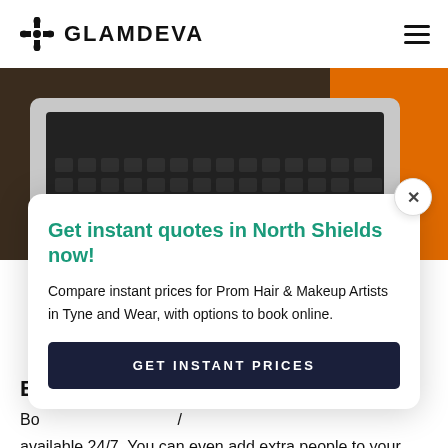GLAMDEVA
[Figure (photo): Laptop keyboard viewed from above on a wooden desk with an orange object partially visible in the top right corner]
Get instant quotes in North Shields now!
Compare instant prices for Prom Hair & Makeup Artists in Tyne and Wear, with options to book online.
GET INSTANT PRICES
B
Bo                                          /
available 24/7. You can even add extra people to your booking and save money.